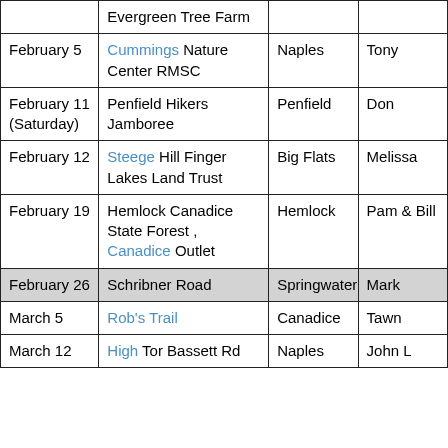| Date | Hike | Location | Leader |
| --- | --- | --- | --- |
|  | Evergreen Tree Farm |  |  |
| February 5 | Cummings Nature Center RMSC | Naples | Tony |
| February 11 (Saturday) | Penfield Hikers Jamboree | Penfield | Don |
| February 12 | Steege Hill Finger Lakes Land Trust | Big Flats | Melissa |
| February 19 | Hemlock Canadice State Forest , Canadice Outlet | Hemlock | Pam & Bill |
| February 26 | Schribner Road | Springwater | Mark |
| March 5 | Rob's Trail | Canadice | Tawn |
| March 12 | High Tor Bassett Rd | Naples | John L |